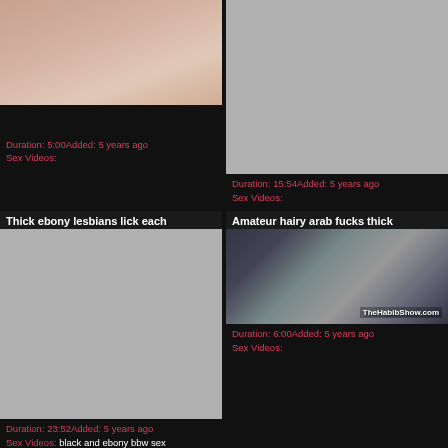[Figure (photo): Video thumbnail showing adult content with watermark 21SEXTREME.COM]
Duration: 5:00Added: 5 years ago
Sex Videos:
[Figure (photo): Video thumbnail placeholder (gray)]
Duration: 15:54Added: 5 years ago
Sex Videos:
Thick ebony lesbians lick each
[Figure (photo): Video thumbnail placeholder (gray)]
Duration: 23:52Added: 5 years ago
Sex Videos: black and ebony bbw sex
Amateur hairy arab fucks thick
[Figure (photo): Video thumbnail showing a person with TheHabibShow.com watermark]
Duration: 6:00Added: 5 years ago
Sex Videos: